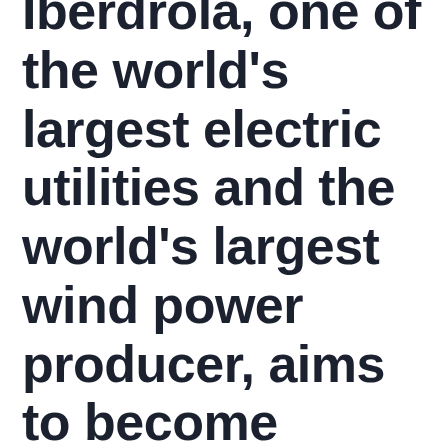Iberdrola, one of the world's largest electric utilities and the world's largest wind power producer, aims to become carbon neutral across Europe by 2030.